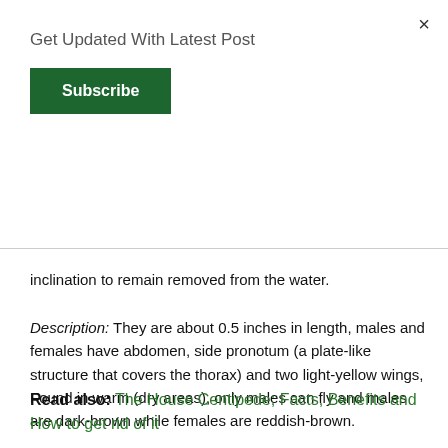Get Updated With Latest Post
Subscribe
inclination to remain removed from the water.
Description: They are about 0.5 inches in length, males and females have abdomen, side pronotum (a plate-like structure that covers the thorax) and two light-yellow wings, Found in warm (dry areas), only males can fly and males are dark-brown while females are reddish-brown.
Read also: The House Centipede; Facts, Benefits and How to get rid of it